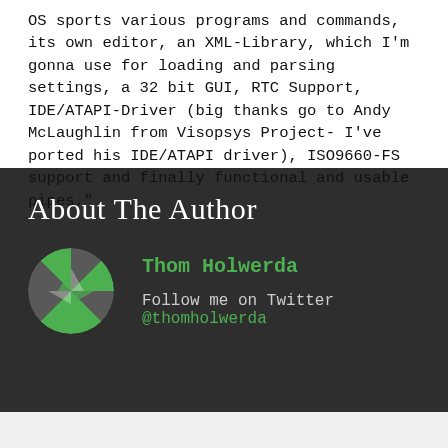OS sports various programs and commands, its own editor, an XML-Library, which I'm gonna use for loading and parsing settings, a 32 bit GUI, RTC Support, IDE/ATAPI-Driver (big thanks go to Andy McLaughlin from Visopsys Project- I've ported his IDE/ATAPI driver), ISO9660-FS support and finally functional and usable pipes."
About The Author
Thom Holwerda
Follow me on Twitter @thomholwerda